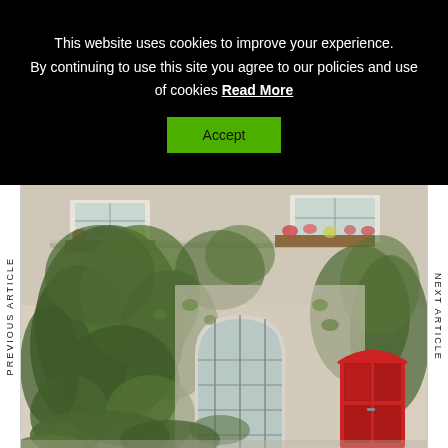This website uses cookies to improve your experience. By continuing to use this site you agree to our policies and use of cookies Read More
Accept
PREVIOUS ARTICLE
NEXT ARTICLE
[Figure (photo): European building facade covered in ivy/vines with arched windows, a red door, and flower boxes on upper balconies]